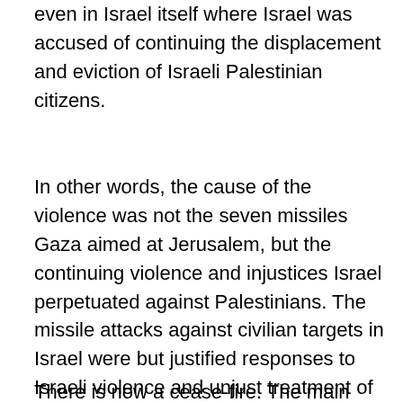even in Israel itself where Israel was accused of continuing the displacement and eviction of Israeli Palestinian citizens.
In other words, the cause of the violence was not the seven missiles Gaza aimed at Jerusalem, but the continuing violence and injustices Israel perpetuated against Palestinians. The missile attacks against civilian targets in Israel were but justified responses to Israeli violence and unjust treatment of Palestinians. The river of faux blood on the steps was the symbol that Israel had blood on its hands. Jewish Israelis, on the other hand, mostly focus on the injustice of shooting over 4,000 missiles into Israel, even though admittedly at least 25% fell short and fell into Gazan territory.
There is now a cease-fire. The main conviction is that the